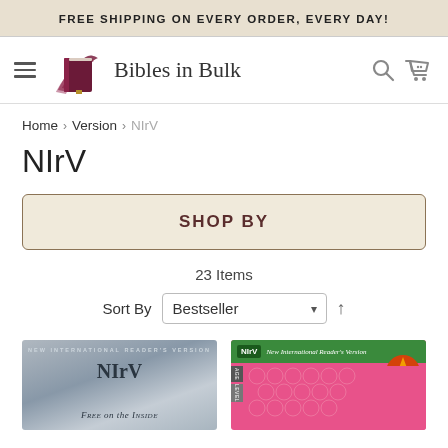FREE SHIPPING ON EVERY ORDER, EVERY DAY!
[Figure (logo): Bibles in Bulk logo with stylized stacked books icon and text 'Bibles in Bulk']
Home > Version > NIrV
NIrV
SHOP BY
23 Items
Sort By  Bestseller
[Figure (photo): Book cover: NIrV Free on the Inside, gray/blue toned cover with text NEW INTERNATIONAL READER'S VERSION, NIrV, FREE on the INSIDE]
[Figure (photo): Book cover: NIrV New International Reader's Version, pink bubble wrap background with green header band, NIrV badge, and a sticker saying 'check this out']